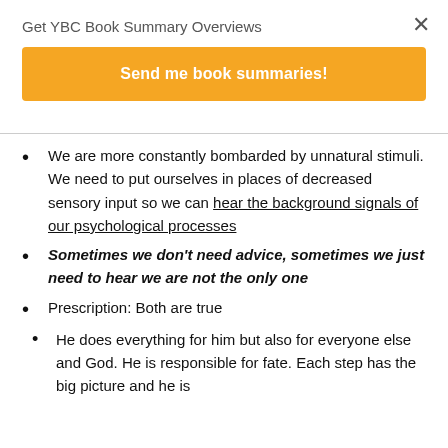Get YBC Book Summary Overviews
Send me book summaries!
We are more constantly bombarded by unnatural stimuli. We need to put ourselves in places of decreased sensory input so we can hear the background signals of our psychological processes
Sometimes we don't need advice, sometimes we just need to hear we are not the only one
Prescription: Both are true
He does everything for him but also for everyone else and God. He is responsible for fate. Each step has the big picture and he is